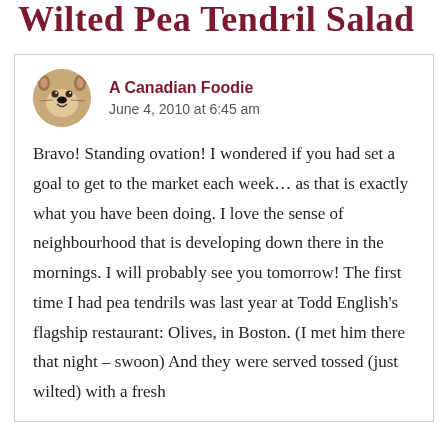Wilted Pea Tendril Salad
[Figure (illustration): Circular avatar of a cartoon beaver/groundhog animal face with brown fur and black nose]
A Canadian Foodie
June 4, 2010 at 6:45 am
Bravo! Standing ovation! I wondered if you had set a goal to get to the market each week… as that is exactly what you have been doing. I love the sense of neighbourhood that is developing down there in the mornings. I will probably see you tomorrow! The first time I had pea tendrils was last year at Todd English's flagship restaurant: Olives, in Boston. (I met him there that night – swoon) And they were served tossed (just wilted) with a fresh